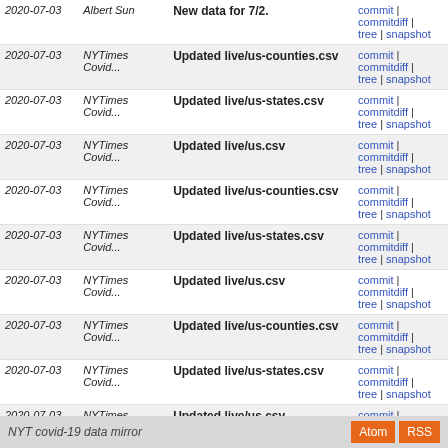| Date | Author | Message | Links |
| --- | --- | --- | --- |
| 2020-07-03 | Albert Sun | New data for 7/2. | commit | commitdiff | tree | snapshot |
| 2020-07-03 | NYTimes Covid... | Updated live/us-counties.csv | commit | commitdiff | tree | snapshot |
| 2020-07-03 | NYTimes Covid... | Updated live/us-states.csv | commit | commitdiff | tree | snapshot |
| 2020-07-03 | NYTimes Covid... | Updated live/us.csv | commit | commitdiff | tree | snapshot |
| 2020-07-03 | NYTimes Covid... | Updated live/us-counties.csv | commit | commitdiff | tree | snapshot |
| 2020-07-03 | NYTimes Covid... | Updated live/us-states.csv | commit | commitdiff | tree | snapshot |
| 2020-07-03 | NYTimes Covid... | Updated live/us.csv | commit | commitdiff | tree | snapshot |
| 2020-07-03 | NYTimes Covid... | Updated live/us-counties.csv | commit | commitdiff | tree | snapshot |
| 2020-07-03 | NYTimes Covid... | Updated live/us-states.csv | commit | commitdiff | tree | snapshot |
| 2020-07-03 | NYTimes Covid... | Updated live/us.csv | commit | commitdiff | tree | snapshot |
| 2020-07-02 | NYTimes Covid... | Updated live/us-counties.csv | commit | commitdiff | tree | snapshot |
next
NYT covid-19 data mirror